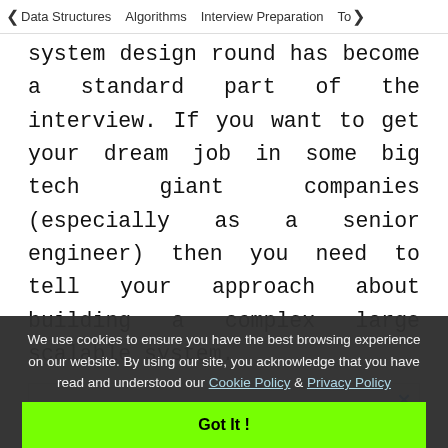< Data Structures   Algorithms   Interview Preparation   To>
system design round has become a standard part of the interview. If you want to get your dream job in some big tech giant companies (especially as a senior engineer) then you need to tell your approach about building a complex large scalable system.
[Figure (other): GeeksforGeeks advertisement banner showing the GeeksforGeeks logo in green text and the 'gG' icon in red/salmon color, with text 'Exit the LOOP of binging' below]
We use cookies to ensure you have the best browsing experience on our website. By using our site, you acknowledge that you have read and understood our Cookie Policy & Privacy Policy
Got It !